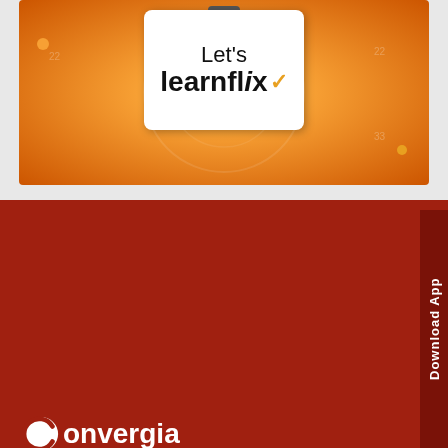[Figure (illustration): Orange circular banner with 'Let's learnflix' logo on a white card, with a play button above and decorative dots on the orange background.]
[Figure (logo): Convergia Digital Education Private Ltd. logo — white C icon followed by 'onvergia' in white bold text, with 'Digital Education Private Ltd.' below.]
Convergia's teaching learning solutions, backed by S. Chan Group with the legacy of more than 80 years brings you th most effective, engaging and affordable quality learning solutio – Learnflix. Learnflix is a personalized learning app anchore around the school curriculum for Grades 6 to 10, coverin Mathematics and Science. Know More
Download App
Subscribe to our Newsletter...